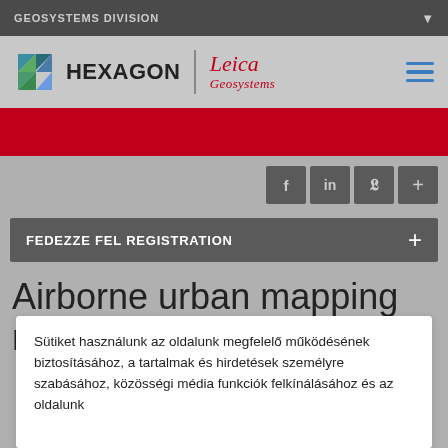GEOSYSTEMS DIVISION
[Figure (logo): Hexagon and Leica Geosystems logo with hamburger menu icon]
[Figure (infographic): Red banner strip]
[Figure (infographic): Social media share buttons: f, in, Twitter, plus]
FEDEZZE FEL REGISTRATION
Airborne urban mapping made easy
Sütiket használunk az oldalunk megfelelő működésének biztosításához, a tartalmak és hirdetések személyre szabásához, közösségi média funkciók felkínálásához és az oldalunk